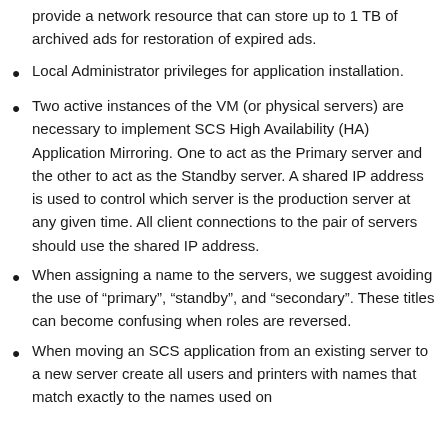provide a network resource that can store up to 1 TB of archived ads for restoration of expired ads.
Local Administrator privileges for application installation.
Two active instances of the VM (or physical servers) are necessary to implement SCS High Availability (HA) Application Mirroring. One to act as the Primary server and the other to act as the Standby server. A shared IP address is used to control which server is the production server at any given time. All client connections to the pair of servers should use the shared IP address.
When assigning a name to the servers, we suggest avoiding the use of “primary”, “standby”, and “secondary”. These titles can become confusing when roles are reversed.
When moving an SCS application from an existing server to a new server create all users and printers with names that match exactly to the names used on